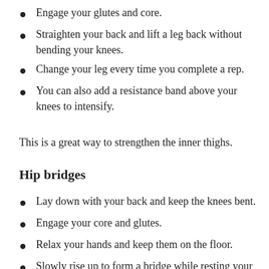Engage your glutes and core.
Straighten your back and lift a leg back without bending your knees.
Change your leg every time you complete a rep.
You can also add a resistance band above your knees to intensify.
This is a great way to strengthen the inner thighs.
Hip bridges
Lay down with your back and keep the knees bent.
Engage your core and glutes.
Relax your hands and keep them on the floor.
Slowly rise up to form a bridge while resting your shoulder and head.